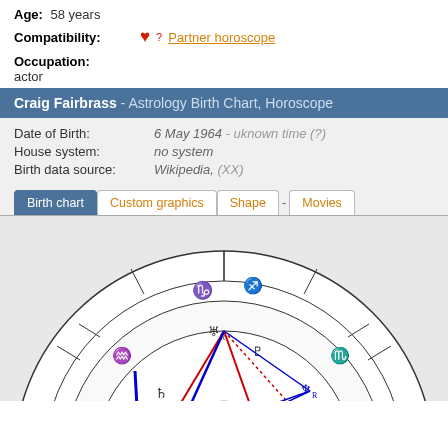Age: 58 years
Compatibility: Partner horoscope
Occupation: actor
Craig Fairbrass - Astrology Birth Chart, Horoscope
Date of Birth: 6 May 1964 - uknown time (?)
House system: no system
Birth data source: Wikipedia, (XX)
Birth chart | Custom graphics | Shape - Movies
[Figure (other): Astrology birth chart wheel showing zodiac signs, planetary symbols, and aspect lines (red and blue) inside concentric circles. Visible symbols include Capricorn, Sagittarius, Aquarius, Scorpio, Pisces, Libra, Saturn, Moon, Uranus, Neptune, Pluto, and others.]